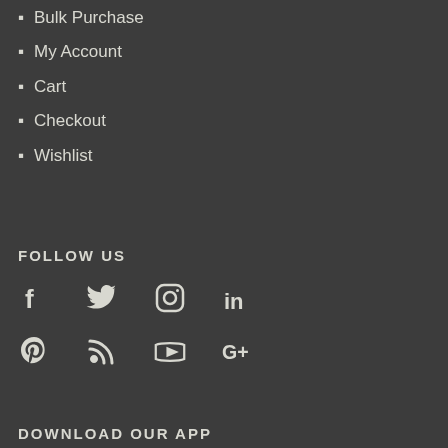Bulk Purchase
My Account
Cart
Checkout
Wishlist
FOLLOW US
[Figure (infographic): Social media icons row 1: Facebook, Twitter, Instagram, LinkedIn]
[Figure (infographic): Social media icons row 2: Pinterest, RSS, YouTube, Google+]
DOWNLOAD OUR APP